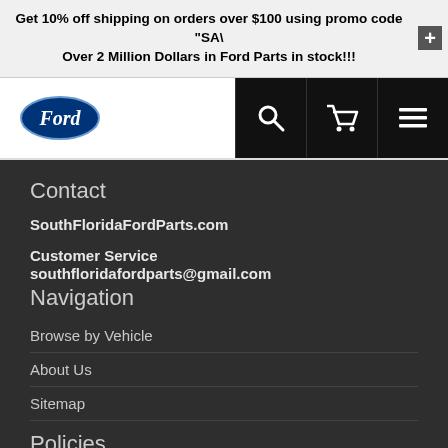Get 10% off shipping on orders over $100 using promo code "SA" Over 2 Million Dollars in Ford Parts in stock!!!
[Figure (logo): Ford oval blue logo in navigation bar with search, cart, and menu icons]
Contact
SouthFloridaFordParts.com
Customer Service southfloridafordparts@gmail.com
Navigation
Browse by Vehicle
About Us
Sitemap
Policies
Terms & Conditions
Returns & Refunds